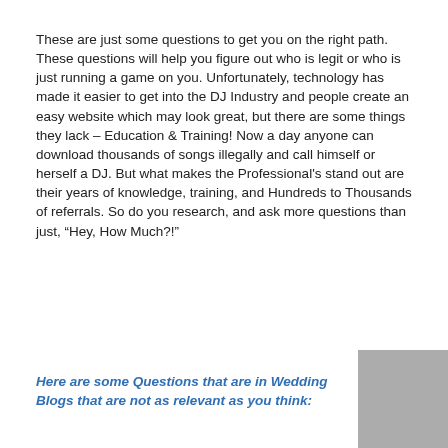These are just some questions to get you on the right path. These questions will help you figure out who is legit or who is just running a game on you. Unfortunately, technology has made it easier to get into the DJ Industry and people create an easy website which may look great, but there are some things they lack – Education & Training! Now a day anyone can download thousands of songs illegally and call himself or herself a DJ. But what makes the Professional's stand out are their years of knowledge, training, and Hundreds to Thousands of referrals. So do you research, and ask more questions than just, “Hey, How Much?!”
Here are some Questions that are in Wedding Blogs that are not as relevant as you think: